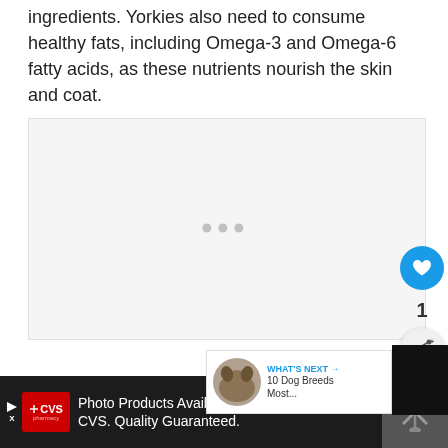ingredients. Yorkies also need to consume healthy fats, including Omega-3 and Omega-6 fatty acids, as these nutrients nourish the skin and coat.
[Figure (other): Advertisement placeholder box with three gray dots]
[Figure (infographic): Floating UI elements: blue heart like button, count '1', share button with share icon]
[Figure (infographic): What's Next panel showing a dog image with text 'WHAT'S NEXT → 10 Dog Breeds Most...']
[Figure (screenshot): Bottom advertisement banner on dark background: CVS Pharmacy logo, text 'Photo Products Available At CVS. Quality Guaranteed.', blue diamond arrow logo]